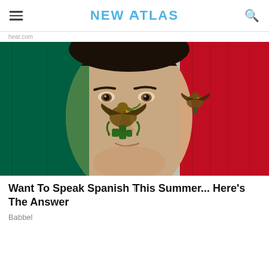NEW ATLAS
hear.com
[Figure (photo): A woman's face painted with the Mexican flag colors and eagle emblem, set against a background of the Mexican flag with green, white, and red vertical stripes and the coat of arms eagle in the center.]
Want To Speak Spanish This Summer... Here's The Answer
Babbel